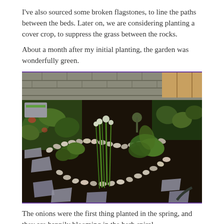I've also sourced some broken flagstones, to line the paths between the beds. Later on, we are considering planting a cover crop, to suppress the grass between the rocks.
About a month after my initial planting, the garden was wonderfully green.
[Figure (photo): Overhead photo of an herb spiral garden with green plants including tall onions in the center, surrounded by a curved border of smooth river rocks and flat flagstone stepping stones on dark soil. In the background are raised garden beds and a concrete block wall.]
The onions were the first thing planted in the spring, and they are happily blooming in the herb spiral.